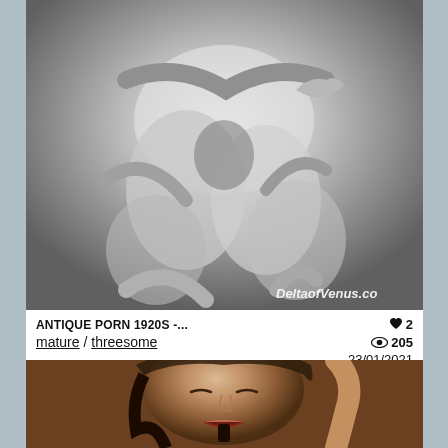[Figure (photo): Black and white vintage photograph showing entangled nude figures, with watermark 'DeltaofVenus.co' at bottom right]
ANTIQUE PORN 1920S -...
mature / threesome
♥ 2
👁 205
23/01/2021
[Figure (photo): Color photograph of a young woman with dark hair, eyes closed, mouth open, expressive face]